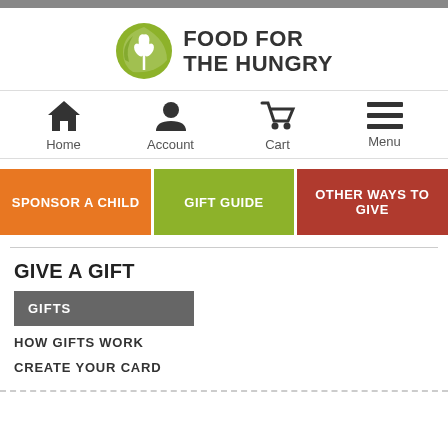[Figure (logo): Food for the Hungry logo with green circular icon and bold black text]
[Figure (infographic): Navigation bar with Home, Account, Cart, and Menu icons]
[Figure (infographic): Three navigation buttons: SPONSOR A CHILD (orange), GIFT GUIDE (green), OTHER WAYS TO GIVE (red)]
GIVE A GIFT
GIFTS
HOW GIFTS WORK
CREATE YOUR CARD